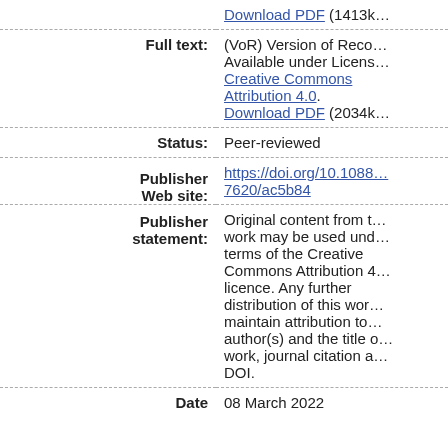| Field | Value |
| --- | --- |
|  | Download PDF (1413k… |
| Full text: | (VoR) Version of Reco… Available under Licens… Creative Commons Attribution 4.0. Download PDF (2034k… |
| Status: | Peer-reviewed |
| Publisher Web site: | https://doi.org/10.1088… 7620/ac5b84 |
| Publisher statement: | Original content from t… work may be used und… terms of the Creative Commons Attribution 4… licence. Any further distribution of this wor… maintain attribution to… author(s) and the title o… work, journal citation a… DOI. |
| Date | 08 March 2022 |